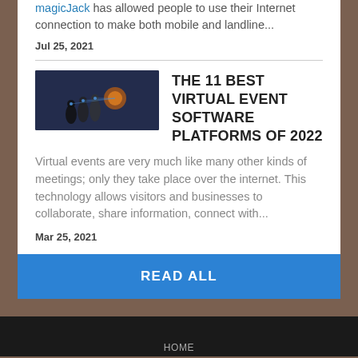magicJack has allowed people to use their Internet connection to make both mobile and landline...
Jul 25, 2021
[Figure (photo): Dark image showing people silhouettes with virtual technology elements]
THE 11 BEST VIRTUAL EVENT SOFTWARE PLATFORMS OF 2022
Virtual events are very much like many other kinds of meetings; only they take place over the internet. This technology allows visitors and businesses to collaborate, share information, connect with...
Mar 25, 2021
READ ALL
HOME